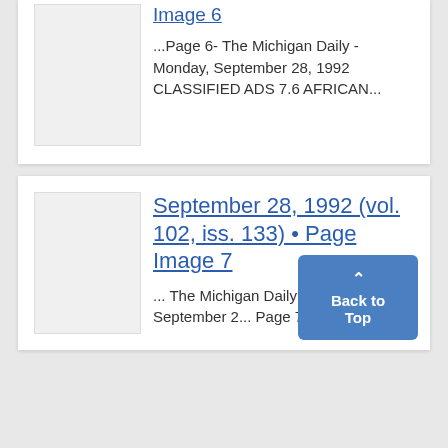Image 6
...Page 6- The Michigan Daily - Monday, September 28, 1992 CLASSIFIED ADS 7.6 AFRICAN...
September 28, 1992 (vol. 102, iss. 133) • Page Image 7
... The Michigan Daily - Monday, September 2... Page 7 Wom...